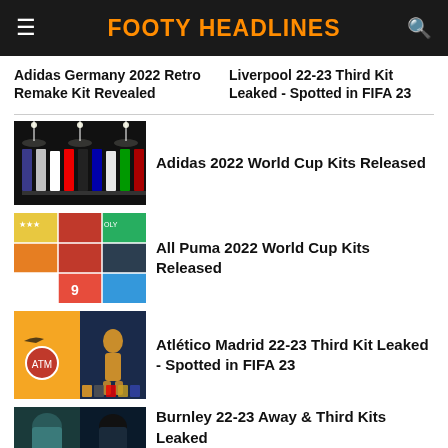FOOTY HEADLINES
Adidas Germany 2022 Retro Remake Kit Revealed
Liverpool 22-23 Third Kit Leaked - Spotted in FIFA 23
[Figure (photo): Multiple football kits on mannequins under studio lights, dark background]
Adidas 2022 World Cup Kits Released
[Figure (photo): Grid collage of colorful Puma football kits for various nations]
All Puma 2022 World Cup Kits Released
[Figure (photo): Atletico Madrid orange kit on left, dark FIFA 23 render on right]
Atlético Madrid 22-23 Third Kit Leaked - Spotted in FIFA 23
[Figure (photo): Burnley away and third kits, dark teal tones]
Burnley 22-23 Away & Third Kits Leaked